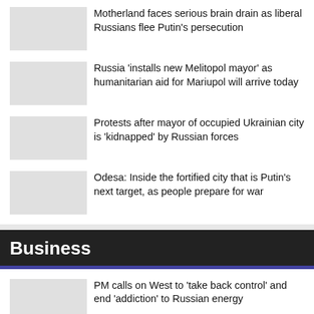Motherland faces serious brain drain as liberal Russians flee Putin’s persecution
Russia ‘installs new Melitopol mayor’ as humanitarian aid for Mariupol will arrive today
Protests after mayor of occupied Ukrainian city is ‘kidnapped’ by Russian forces
Odesa: Inside the fortified city that is Putin’s next target, as people prepare for war
Business
PM calls on West to ‘take back control’ and end ‘addiction’ to Russian energy